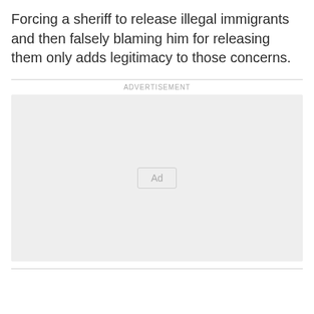Forcing a sheriff to release illegal immigrants and then falsely blaming him for releasing them only adds legitimacy to those concerns.
[Figure (other): Advertisement placeholder box with 'Ad' button in the center, labeled 'ADVERTISEMENT' above]